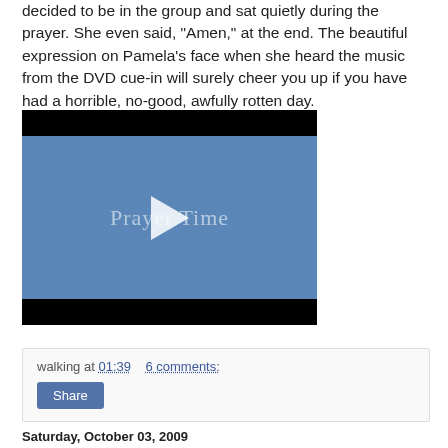decided to be in the group and sat quietly during the prayer. She even said, "Amen," at the end. The beautiful expression on Pamela's face when she heard the music from the DVD cue-in will surely cheer you up if you have had a horrible, no-good, awfully rotten day.
[Figure (screenshot): Embedded video player with black top and bottom bars, blue center area with watermark text 'Prayer Time' and a white play button triangle in the center.]
walking at 01:39    6 comments:
Share
Saturday, October 03, 2009